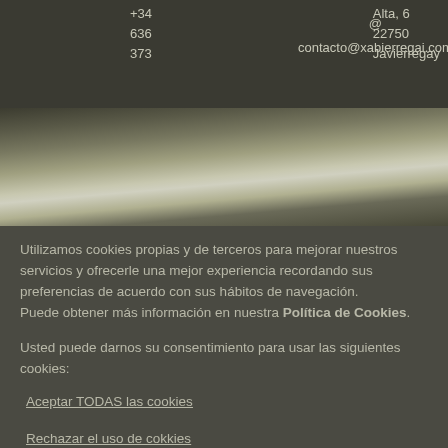+34 636 373 @ contacto@xabierregai.com Alta, 6 22750 Javierregay
[Figure (photo): Outdoor photo showing building rooftop structure with wooden beams against a bright sky]
Utilizamos cookies propias y de terceros para mejorar nuestros servicios y ofrecerle una mejor experiencia recordando sus preferencias de acuerdo con sus hábitos de navegación.
Puede obtener más información en nuestra Política de Cookies.
Usted puede darnos su consentimiento para usar las siguientes cookies:
Aceptar TODAS las cookies
Rechazar el uso de cokkies
Personalizar las cookies aceptadas